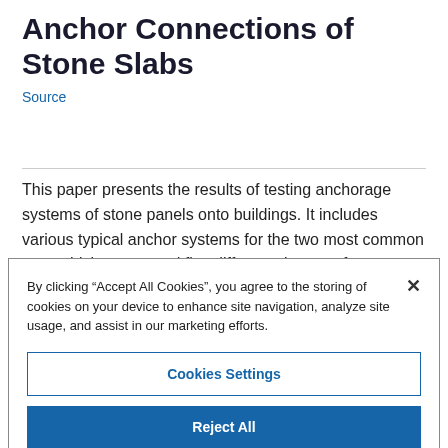Anchor Connections of Stone Slabs
Source
This paper presents the results of testing anchorage systems of stone panels onto buildings. It includes various typical anchor systems for the two most common stone thicknesses and five different classes of stones. The anchor
By clicking “Accept All Cookies”, you agree to the storing of cookies on your device to enhance site navigation, analyze site usage, and assist in our marketing efforts.
Cookies Settings
Reject All